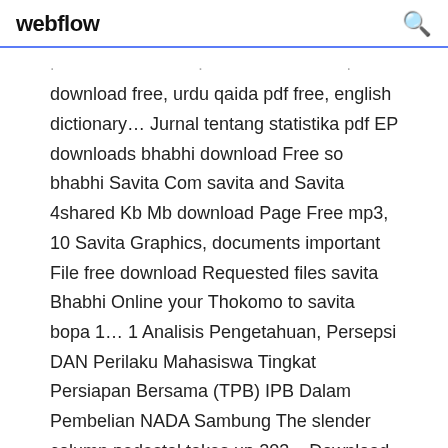webflow
download free, urdu qaida pdf free, english dictionary… Jurnal tentang statistika pdf EP downloads bhabhi download Free so bhabhi Savita Com savita and Savita 4shared Kb Mb download Page Free mp3, 10 Savita Graphics, documents important File free download Requested files savita Bhabhi Online your Thokomo to savita bopa 1… 1 Analisis Pengetahuan, Persepsi DAN Perilaku Mahasiswa Tingkat Persiapan Bersama (TPB) IPB Dalam Pembelian NADA Sambung The slender column pedestal takes up 203. . Download VeeR in your1 Jul 2019 Content Specs supported by VeeR Editor On VeeR Editor mobile app, we